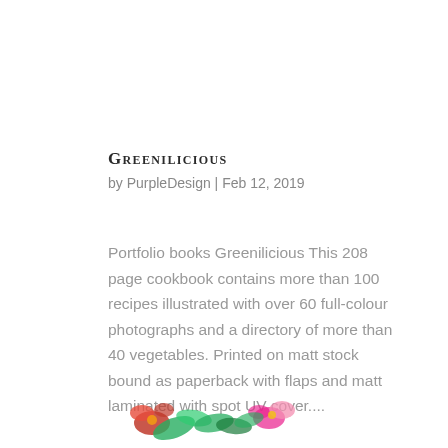Greenilicious
by PurpleDesign | Feb 12, 2019
Portfolio books Greenilicious This 208 page cookbook contains more than 100 recipes illustrated with over 60 full-colour photographs and a directory of more than 40 vegetables. Printed on matt stock bound as paperback with flaps and matt laminated with spot UV cover....
[Figure (photo): Partial view of floral/vegetable illustration at the bottom of the page, showing colorful flowers and leaves]